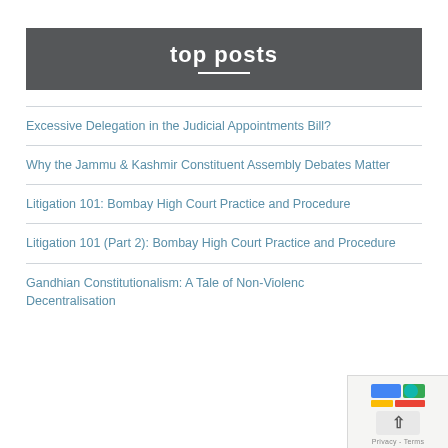top posts
Excessive Delegation in the Judicial Appointments Bill?
Why the Jammu & Kashmir Constituent Assembly Debates Matter
Litigation 101: Bombay High Court Practice and Procedure
Litigation 101 (Part 2): Bombay High Court Practice and Procedure
Gandhian Constitutionalism: A Tale of Non-Violence and Decentralisation